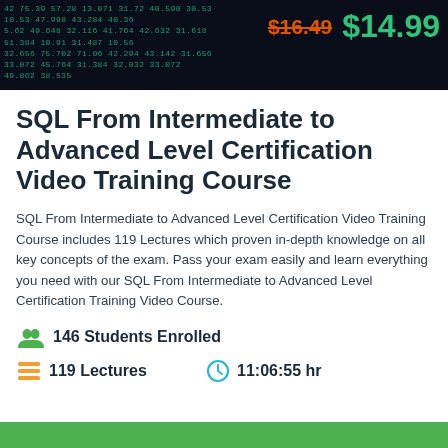[Figure (screenshot): Dark stock market ticker background with green scrolling numbers and price overlay showing $16.49 (strikethrough, orange) and $14.99 (green)]
SQL From Intermediate to Advanced Level Certification Video Training Course
SQL From Intermediate to Advanced Level Certification Video Training Course includes 119 Lectures which proven in-depth knowledge on all key concepts of the exam. Pass your exam easily and learn everything you need with our SQL From Intermediate to Advanced Level Certification Training Video Course.
146 Students Enrolled
119 Lectures
11:06:55 hr